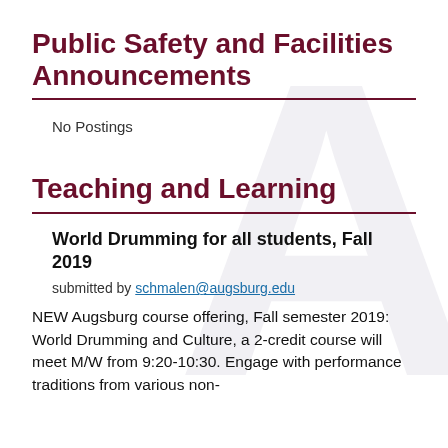Public Safety and Facilities Announcements
No Postings
Teaching and Learning
World Drumming for all students, Fall 2019
submitted by schmalen@augsburg.edu
NEW Augsburg course offering, Fall semester 2019: World Drumming and Culture, a 2-credit course will meet M/W from 9:20-10:30. Engage with performance traditions from various non-